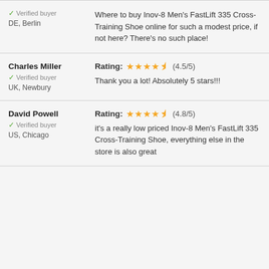Verified buyer | DE, Berlin | Where to buy Inov-8 Men's FastLift 335 Cross-Training Shoe online for such a modest price, if not here? There's no such place!
Charles Miller | Verified buyer | UK, Newbury | Rating: (4.5/5) | Thank you a lot! Absolutely 5 stars!!!
David Powell | Verified buyer | US, Chicago | Rating: (4.8/5) | it's a really low priced Inov-8 Men's FastLift 335 Cross-Training Shoe, everything else in the store is also great